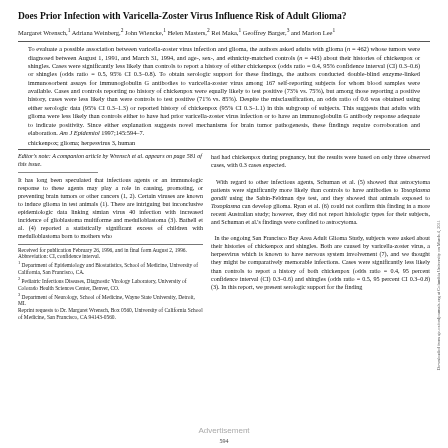Does Prior Infection with Varicella-Zoster Virus Influence Risk of Adult Glioma?
Margaret Wrensch,1 Adriana Weinberg,2 John Wiencke,1 Helen Masters,2 Rei Maka,1 Geoffrey Barger,3 and Marion Lee1
To evaluate a possible association between varicella-zoster virus infection and glioma, the authors asked adults with glioma (n = 462) whose tumors were diagnosed between August 1, 1991, and March 31, 1994, and age-, sex-, and ethnicity-matched controls (n = 443) about their histories of chickenpox or shingles. Cases were significantly less likely than controls to report a history of either chickenpox (odds ratio = 0.4, 95% confidence interval (CI) 0.3–0.6) or shingles (odds ratio = 0.5, 95% CI 0.3–0.8). To obtain serologic support for these findings, the authors conducted double-blind enzyme-linked immunosorbent assays for immunoglobulin G antibodies to varicella-zoster virus among 167 self-reporting subjects for whom blood samples were available. Cases and controls reporting no history of chickenpox were equally likely to test positive (73% vs. 75%), but among those reporting a positive history, cases were less likely than were controls to test positive (71% vs. 85%). Despite the misclassification, an odds ratio of 0.6 was obtained using either serologic data (95% CI 0.3–1.3) or reported history of chickenpox (95% CI 0.3–1.1) in this subgroup of subjects. This suggests that adults with glioma were less likely than controls either to have had prior varicella-zoster virus infection or to have an immunoglobulin G antibody response adequate to indicate positivity. Since either explanation suggests novel mechanisms for brain tumor pathogenesis, these findings require corroboration and elaboration. Am J Epidemiol 1997;145:594–7.
chickenpox; glioma; herpesvirus 3, human
Editor's note: A companion article by Wrensch et al. appears on page 581 of this issue.
It has long been speculated that infectious agents or an immunologic response to these agents may play a role in causing, promoting, or preventing brain tumors or other cancers (1, 2). Certain viruses are known to induce glioma in test animals (1). There are intriguing but inconclusive epidemiologic data linking simian virus 40 infection with increased incidence of glioblastoma multiforme and medulloblastoma (3). Bathell et al. (4) reported a statistically significant excess of children with medulloblastoma born to mothers who
had had chickenpox during pregnancy, but the results were based on only three observed cases, with 0.3 cases expected.

With regard to other infectious agents, Schuman et al. (5) showed that astrocytoma patients were significantly more likely than controls to have antibodies to Toxoplasma gondii using the Sabin-Feldman dye test, and they showed that animals exposed to Toxoplasma can develop glioma. Ryan et al. (6) could not confirm this finding in a more recent Australian study; however, they did not report histologic types for their subjects, and Schuman et al.'s findings were confined to astrocytoma.

In the ongoing San Francisco Bay Area Adult Glioma Study, subjects were asked about their histories of chickenpox and shingles. Both are caused by varicella-zoster virus, a herpesvirus which is known to have nervous system involvement (7), and we thought they might be comparatively memorable infections. Cases were significantly less likely than controls to report a history of both chickenpox (odds ratio = 0.4, 95 percent confidence interval (CI) 0.3–0.6) and shingles (odds ratio = 0.5, 95 percent CI 0.3–0.8) (3). In this report, we present serologic support for the finding
Received for publication February 26, 1996, and in final form August 2, 1996.
Abbreviation: CI, confidence interval.
1 Department of Epidemiology and Biostatistics, School of Medicine, University of California, San Francisco, CA.
2 Pediatric Infectious Diseases, Diagnostic Virology Laboratory, University of Colorado Health Sciences Center, Denver, CO.
3 Department of Neurology, School of Medicine, Wayne State University, Detroit, MI.
Reprint requests to Dr. Margaret Wrensch, Box 0560, University of California School of Medicine, San Francisco, CA 94143-0560.
Advertisement
594